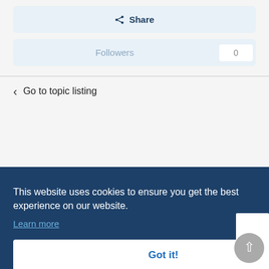Share
Followers  0
< Go to topic listing
This website uses cookies to ensure you get the best experience on our website. Learn more
Got it!
I've made a library, based on AutoItObject UDF with the